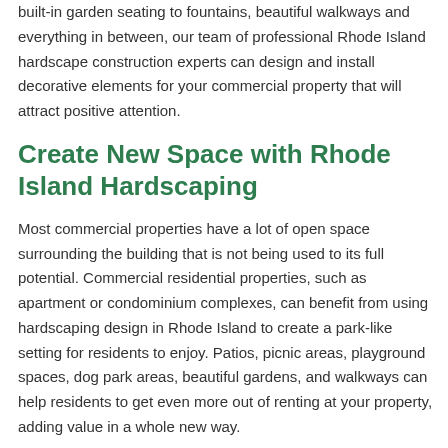built-in garden seating to fountains, beautiful walkways and everything in between, our team of professional Rhode Island hardscape construction experts can design and install decorative elements for your commercial property that will attract positive attention.
Create New Space with Rhode Island Hardscaping
Most commercial properties have a lot of open space surrounding the building that is not being used to its full potential. Commercial residential properties, such as apartment or condominium complexes, can benefit from using hardscaping design in Rhode Island to create a park-like setting for residents to enjoy. Patios, picnic areas, playground spaces, dog park areas, beautiful gardens, and walkways can help residents to get even more out of renting at your property, adding value in a whole new way.